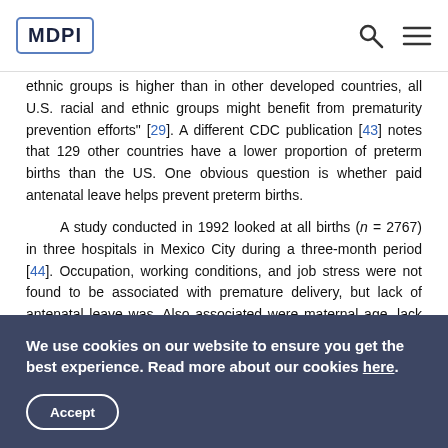MDPI
ethnic groups is higher than in other developed countries, all U.S. racial and ethnic groups might benefit from prematurity prevention efforts" [29]. A different CDC publication [43] notes that 129 other countries have a lower proportion of preterm births than the US. One obvious question is whether paid antenatal leave helps prevent preterm births.

A study conducted in 1992 looked at all births (n = 2767) in three hospitals in Mexico City during a three-month period [44]. Occupation, working conditions, and job stress were not found to be associated with premature delivery, but lack of antenatal leave was. Also associated were maternal age, lack of prenatal care, high parity, and having no financial help in an emergency.
We use cookies on our website to ensure you get the best experience. Read more about our cookies here.